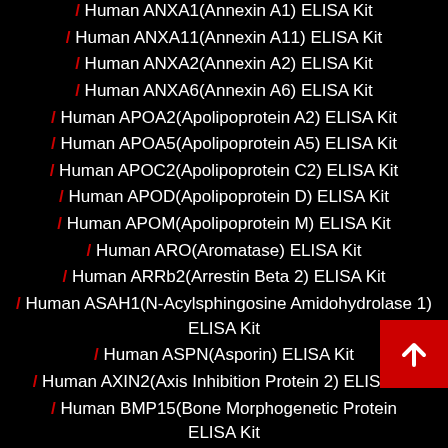/ Human ANXA1(Annexin A1) ELISA Kit
/ Human ANXA11(Annexin A11) ELISA Kit
/ Human ANXA2(Annexin A2) ELISA Kit
/ Human ANXA6(Annexin A6) ELISA Kit
/ Human APOA2(Apolipoprotein A2) ELISA Kit
/ Human APOA5(Apolipoprotein A5) ELISA Kit
/ Human APOC2(Apolipoprotein C2) ELISA Kit
/ Human APOD(Apolipoprotein D) ELISA Kit
/ Human APOM(Apolipoprotein M) ELISA Kit
/ Human ARO(Aromatase) ELISA Kit
/ Human ARRb2(Arrestin Beta 2) ELISA Kit
/ Human ASAH1(N-Acylsphingosine Amidohydrolase 1) ELISA Kit
/ Human ASPN(Asporin) ELISA Kit
/ Human AXIN2(Axis Inhibition Protein 2) ELISA Kit
/ Human BMP15(Bone Morphogenetic Protein 15) ELISA Kit
/ Human BMP7(Bone Morphogenetic Protein 7) ELISA Kit